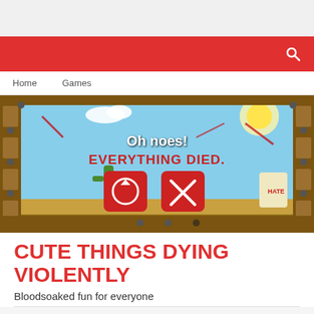[Figure (screenshot): Game screenshot showing a cartoon western scene with wooden planks frame, blue sky, cactus, and colorful characters. Text overlay reads 'Oh noes! EVERYTHING DIED.' with two red icon buttons (retry and close).]
CUTE THINGS DYING VIOLENTLY
Bloodsoaked fun for everyone